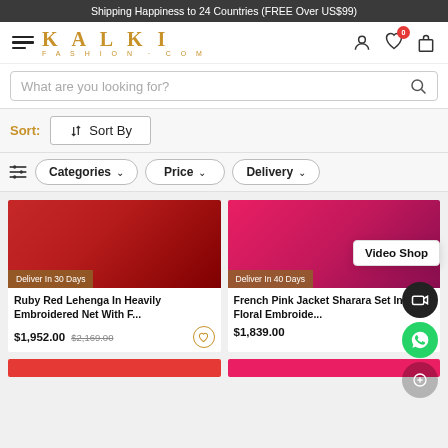Shipping Happiness to 24 Countries (FREE Over US$99)
[Figure (logo): Kalki Fashion.com logo with hamburger menu]
What are you looking for?
Sort: Sort By
Categories  Price  Delivery
[Figure (photo): Ruby Red Lehenga product photo, Deliver In 30 Days badge]
Ruby Red Lehenga In Heavily Embroidered Net With F...
$1,952.00  $2,169.00
[Figure (photo): French Pink Jacket Sharara Set product photo, Deliver In 40 Days badge, Video Shop popup]
French Pink Jacket Sharara Set In Floral Embroide...
$1,839.00